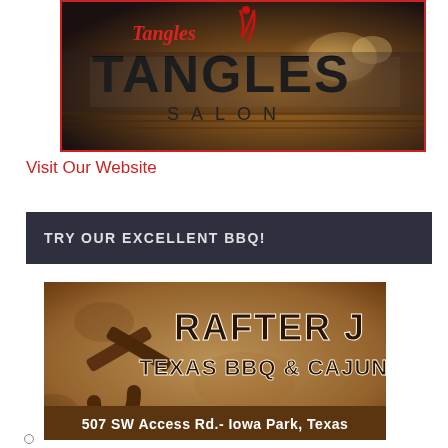[Figure (photo): Tangles Salon sign photo — dark background with illuminated 'TANGLES SALON' signage in large black letters and a red scripted logo with flame motif at top]
Visit Our Website
TRY OUR EXCELLENT BBQ!
[Figure (photo): Rafter J Texas BBQ & Cajun Eats advertisement — rustic distressed background with rafter/horseshoe logo graphic and bold western-style text. Address: 507 SW Access Rd.- Iowa Park, Texas]